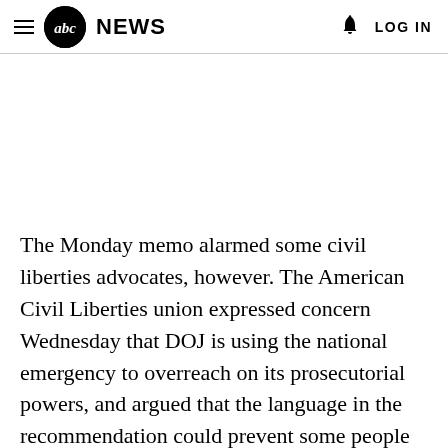abc NEWS  LOG IN
The Monday memo alarmed some civil liberties advocates, however. The American Civil Liberties union expressed concern Wednesday that DOJ is using the national emergency to overreach on its prosecutorial powers, and argued that the language in the recommendation could prevent some people